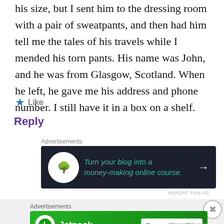his size, but I sent him to the dressing room with a pair of sweatpants, and then had him tell me the tales of his travels while I mended his torn pants. His name was John, and he was from Glasgow, Scotland. When he left, he gave me his address and phone number. I still have it in a box on a shelf.
Like
Reply
Advertisements
[Figure (screenshot): Advertisement banner: dark navy background with tree bonsai logo circle, teal italic text 'Turn your blog into a money-making online course.' with white arrow]
REPORT THIS AD
Advertisements
[Figure (screenshot): Jetpack advertisement banner: green gradient background with Jetpack logo and 'Secure Your Site' white button]
REPORT THIS AD